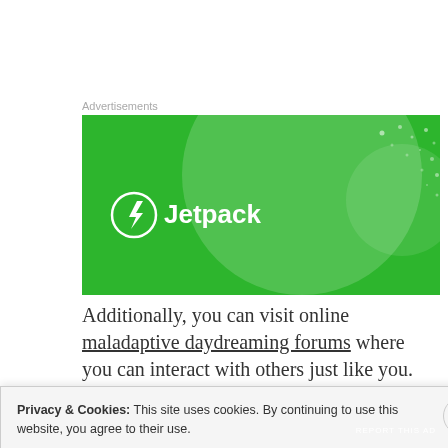[Figure (logo): Jetpack advertisement banner with green background, large circular gradient element, scattered white dots, and Jetpack logo (lightning bolt in circle) with white text 'Jetpack' on left side.]
Additionally, you can visit online maladaptive daydreaming forums where you can interact with others just like you.
Are you a maladaptive daydreamer? Which of the above traits
Privacy & Cookies: This site uses cookies. By continuing to use this website, you agree to their use.
To find out more, including how to control cookies, see here: Cookie Policy
Close and accept